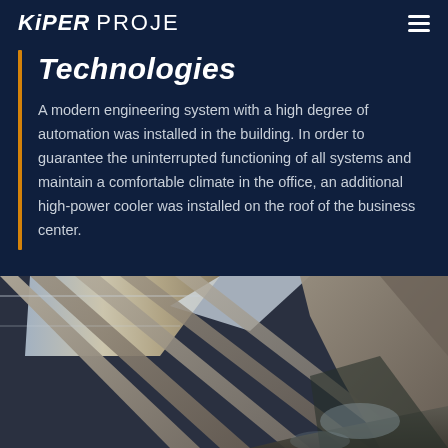KiPER PROJE
Technologies
A modern engineering system with a high degree of automation was installed in the building. In order to guarantee the uninterrupted functioning of all systems and maintain a comfortable climate in the office, an additional high-power cooler was installed on the roof of the business center.
[Figure (photo): Interior architectural photograph showing diagonal concrete beams and ceiling structure of a modern building with large windows and natural light]